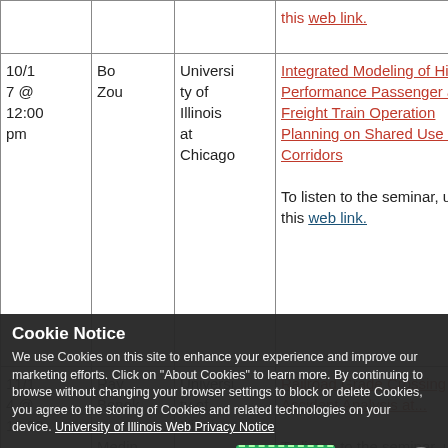| Date | Speaker | Institution | Title/Description |
| --- | --- | --- | --- |
|  |  |  | this web link. |
| 10/17 @ 12:00 pm | Bo Zou | University of Illinois at Chicago | Integrated Modeling of High Performance Passenger and Freight Train Operation Planning on Shared Use Rail Corridors

To listen to the seminar, use this web link. |
| 11/14 @ 12:00 | Ray Benek ... Medina | University of Illinois ... Champaign | Railroad Grade Crossing Accident Analysis at ...

To listen to the seminar, use this web link. |
Cookie Notice
We use Cookies on this site to enhance your experience and improve our marketing efforts. Click on "About Cookies" to learn more. By continuing to browse without changing your browser settings to block or delete Cookies, you agree to the storing of Cookies and related technologies on your device. University of Illinois Web Privacy Notice